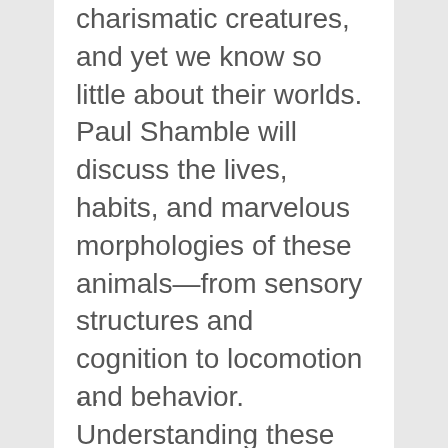charismatic creatures, and yet we know so little about their worlds. Paul Shamble will discuss the lives, habits, and marvelous morphologies of these animals—from sensory structures and cognition to locomotion and behavior. Understanding these creatures helps us better understand evolution and diversity—and leads us to ask what it means that even tiny animals inhabit complex lives.
...